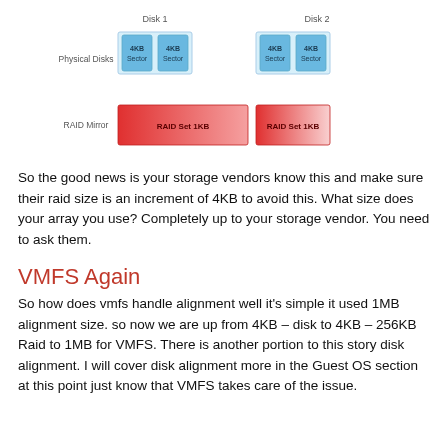[Figure (infographic): Diagram showing Physical Disks (Disk 1 and Disk 2, each with two 4KB Sector boxes in light blue) and RAID Mirror row below with two RAID Set 1KB blocks in red gradient.]
So the good news is your storage vendors know this and make sure their raid size is an increment of 4KB to avoid this.  What size does your array you use?  Completely up to your storage vendor.  You need to ask them.
VMFS Again
So how does vmfs handle alignment well it's simple it used 1MB alignment size. so now we are up from 4KB – disk to 4KB – 256KB Raid to 1MB for VMFS.   There is another portion to this story disk alignment.   I will cover disk alignment more in the Guest OS section at this point just know that VMFS takes care of the issue.